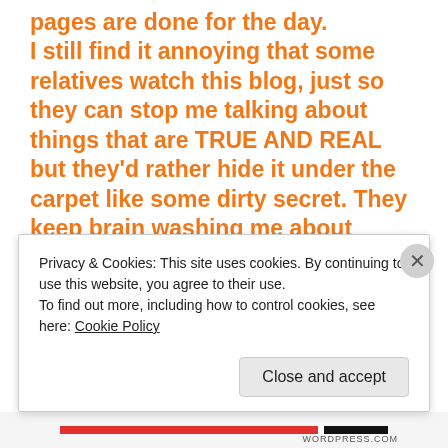pages are done for the day. I still find it annoying that some relatives watch this blog, just so they can stop me talking about things that are TRUE AND REAL but they'd rather hide it under the carpet like some dirty secret. They keep brain washing me about skeletons in the closet and my brother isn't the only relative either, some other relatives are encouraging me to speak the truth, some of them will shock my immediate family because it's not who they think they are, it's the most unlikeliest. Because I was raised in a very unhappy environment
Privacy & Cookies: This site uses cookies. By continuing to use this website, you agree to their use. To find out more, including how to control cookies, see here: Cookie Policy
Close and accept